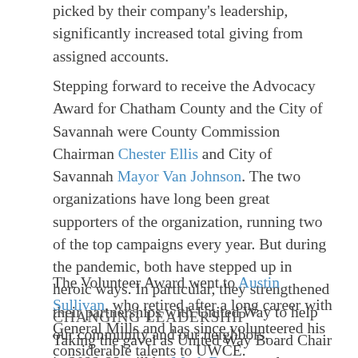picked by their company's leadership, significantly increased total giving from assigned accounts.
Stepping forward to receive the Advocacy Award for Chatham County and the City of Savannah were County Commission Chairman Chester Ellis and City of Savannah Mayor Van Johnson. The two organizations have long been great supporters of the organization, running two of the top campaigns every year. But during the pandemic, both have stepped up in heroic ways. In particular, they strengthened their partnerships with United Way to help our community and our neighbors.
The Volunteer Award went to Austin Sullivan, who retired after a long career with General Mills and has since volunteered his considerable talents to UWCE.
CHANGING LEADERSHIP
Taking the gavel as United Way Board Chair in 2022-23 will be Mark Bennett, a long-time volunteer for the organization